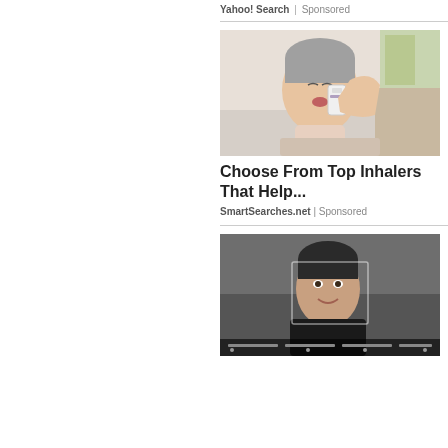Yahoo! Search | Sponsored
[Figure (photo): Middle-aged woman using an inhaler, hand raised to mouth, eyes closed, light background]
Choose From Top Inhalers That Help...
SmartSearches.net | Sponsored
[Figure (photo): Young man smiling, dark background with a video player interface overlay showing progress bar and navigation controls]